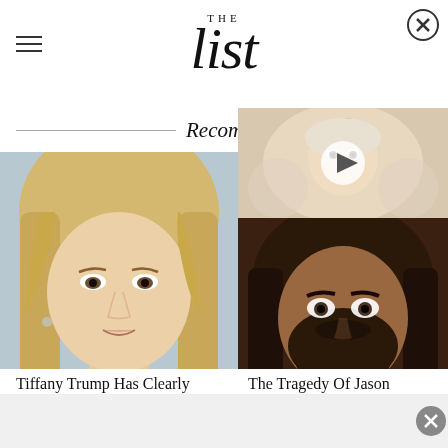THE list
Recomm
[Figure (photo): Close-up photo of Tiffany Trump, a young woman with blonde wavy hair, looking forward]
[Figure (screenshot): Video thumbnail of a girl with a flower headpiece in a fantasy setting, with a play button overlay]
[Figure (photo): Close-up photo of Jason Momoa with long dark hair and beard, looking directly at camera]
Tiffany Trump Has Clearly
The Tragedy Of Jason